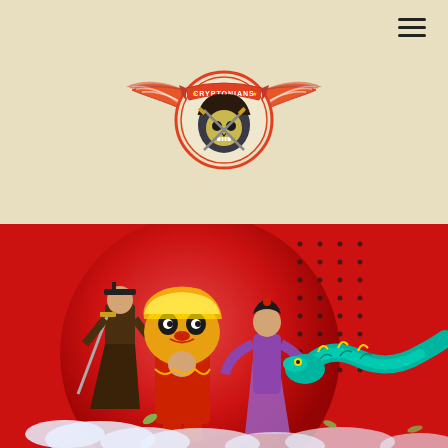[Figure (logo): Cryptonians logo: a winged badge with a skull/grim reaper wearing a hood, crossed swords, and a banner reading CRYPTONIANS. Colors: red, orange, cream/beige on beige background.]
[Figure (illustration): Chinese New Year themed illustration on red background. Shows a large red circle/sphere, a Chinese lion dance performer in front, a warrior with sword in dark robes, a woman in traditional hanfu, and a colorful dragon on the right. Decorative dot grid pattern on upper right. Clouds at bottom.]